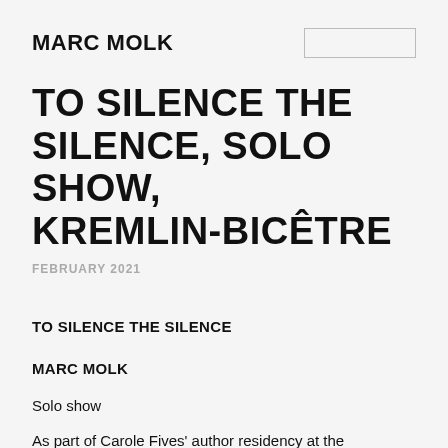MARC MOLK
TO SILENCE THE SILENCE, SOLO SHOW, KREMLIN-BICÊTRE
FEBRUARY 2021
TO SILENCE THE SILENCE
MARC MOLK
Solo show
As part of Carole Fives' author residency at the